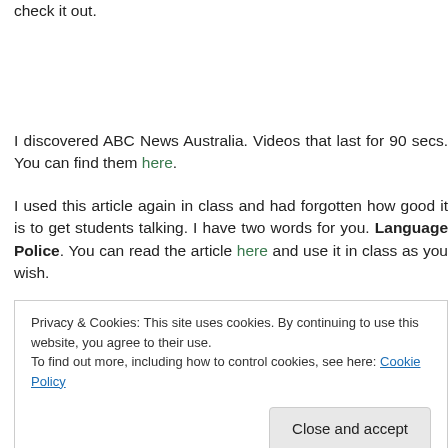check it out.
I discovered ABC News Australia. Videos that last for 90 secs. You can find them here.
I used this article again in class and had forgotten how good it is to get students talking. I have two words for you. Language Police. You can read the article here and use it in class as you wish.
Privacy & Cookies: This site uses cookies. By continuing to use this website, you agree to their use.
To find out more, including how to control cookies, see here: Cookie Policy
level learners (lawyers, CEOs etc.). I love the part about reading